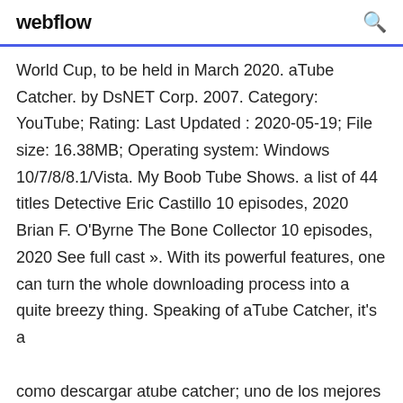webflow
World Cup, to be held in March 2020. aTube Catcher. by DsNET Corp. 2007. Category: YouTube; Rating: Last Updated : 2020-05-19; File size: 16.38MB; Operating system: Windows 10/7/8/8.1/Vista. My Boob Tube Shows. a list of 44 titles Detective Eric Castillo 10 episodes, 2020 Brian F. O'Byrne The Bone Collector 10 episodes, 2020 See full cast ». With its powerful features, one can turn the whole downloading process into a quite breezy thing. Speaking of aTube Catcher, it's a
como descargar atube catcher; uno de los mejores programas para descargar música y videos de YouTube, en su última versión 2020